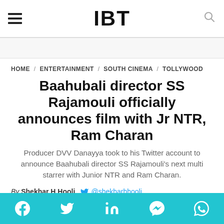IBT
HOME / ENTERTAINMENT / SOUTH CINEMA / TOLLYWOOD
Baahubali director SS Rajamouli officially announces film with Jr NTR, Ram Charan
Producer DVV Danayya took to his Twitter account to announce Baahubali director SS Rajamouli's next multi starrer with Junior NTR and Ram Charan.
By Shekhar H Hooli @shekharhhooli
March 23, 2018 10:51 IST